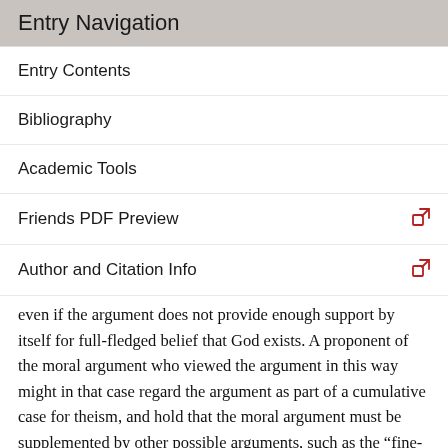Entry Navigation
Entry Contents
Bibliography
Academic Tools
Friends PDF Preview
Author and Citation Info
even if the argument does not provide enough support by itself for full-fledged belief that God exists. A proponent of the moral argument who viewed the argument in this way might in that case regard the argument as part of a cumulative case for theism, and hold that the moral argument must be supplemented by other possible arguments, such as the “fine-tuning” argument from the physical constants of the universe, or an argument from religious experience. A non-believer might even concede some version of a theistic argument has some evidential force, but claim that the overall balance of evidence does